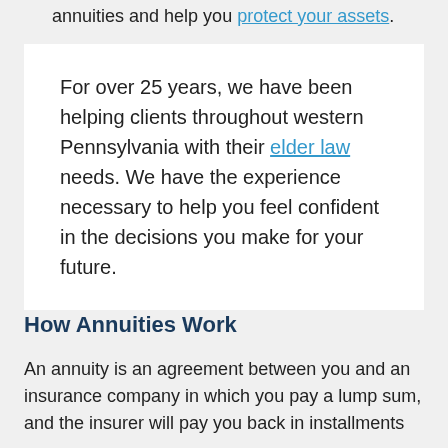annuities and help you protect your assets.
For over 25 years, we have been helping clients throughout western Pennsylvania with their elder law needs. We have the experience necessary to help you feel confident in the decisions you make for your future.
How Annuities Work
An annuity is an agreement between you and an insurance company in which you pay a lump sum, and the insurer will pay you back in installments